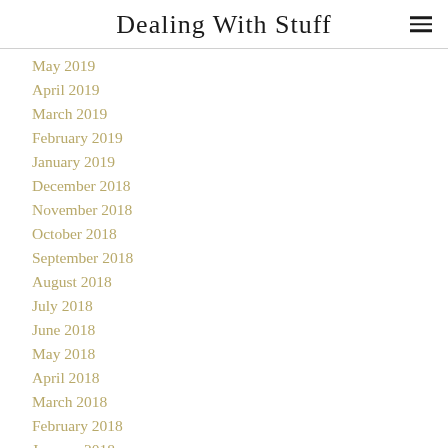Dealing With Stuff
May 2019
April 2019
March 2019
February 2019
January 2019
December 2018
November 2018
October 2018
September 2018
August 2018
July 2018
June 2018
May 2018
April 2018
March 2018
February 2018
January 2018